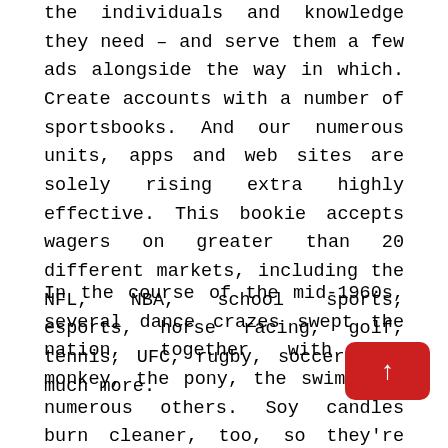the individuals and knowledge they need – and serve them a few ads alongside the way in which. Create accounts with a number of sportsbooks. And our numerous units, apps and web sites are solely rising extra highly effective. This bookie accepts wagers on greater than 20 different markets, including the NFL, NBA, school sports, esports, horse racing, golf, tennis, UFC, rugby, soccer, and much more.
In the course of the mid-1960s, several dance crazes swept the nation, together with the monkey, the pony, the swim, and numerous others. Soy candles burn cleaner, too, so they're better for the air in your home. Soy candles are all the craze today. They're most popular by many customers over paraffin candles as a result of they're made from soy beans, whereas paraffin wax is a petroleum product. However over the ensuing many